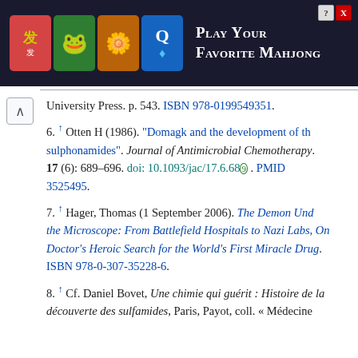[Figure (screenshot): Advertisement banner for Mahjong game with tile icons and text 'Play Your Favorite Mahjong']
University Press. p. 543. ISBN 978-0199549351.
6. ↑ Otten H (1986). "Domagk and the development of the sulphonamides". Journal of Antimicrobial Chemotherapy. 17 (6): 689–696. doi: 10.1093/jac/17.6.689 . PMID 3525495.
7. ↑ Hager, Thomas (1 September 2006). The Demon Under the Microscope: From Battlefield Hospitals to Nazi Labs, One Doctor's Heroic Search for the World's First Miracle Drug. ISBN 978-0-307-35228-6.
8. ↑ Cf. Daniel Bovet, Une chimie qui guérit : Histoire de la découverte des sulfamides, Paris, Payot, coll. « Médecine ...